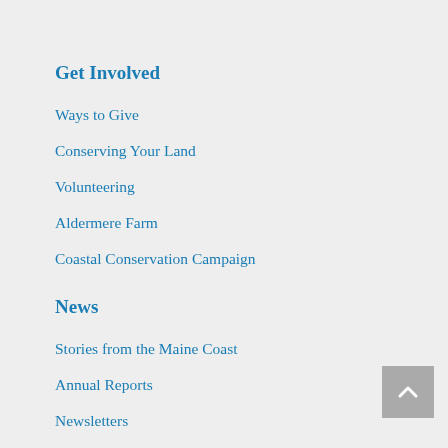Get Involved
Ways to Give
Conserving Your Land
Volunteering
Aldermere Farm
Coastal Conservation Campaign
News
Stories from the Maine Coast
Annual Reports
Newsletters
Video
Financials
Visit a Preserve